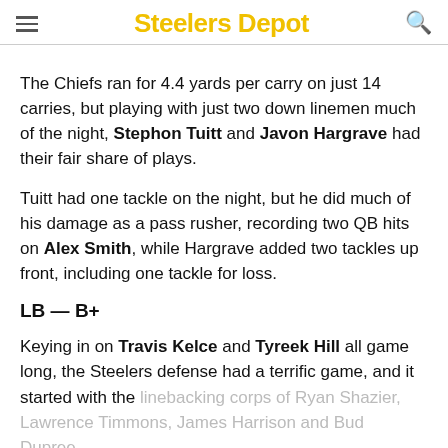Steelers Depot
The Chiefs ran for 4.4 yards per carry on just 14 carries, but playing with just two down linemen much of the night, Stephon Tuitt and Javon Hargrave had their fair share of plays.
Tuitt had one tackle on the night, but he did much of his damage as a pass rusher, recording two QB hits on Alex Smith, while Hargrave added two tackles up front, including one tackle for loss.
LB — B+
Keying in on Travis Kelce and Tyreek Hill all game long, the Steelers defense had a terrific game, and it started with the linebacking corps of Ryan Shazier, Lawrence Timmons, James Harrison and Bud Dupree.